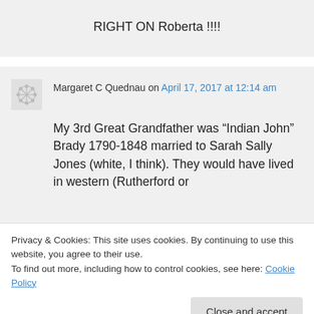RIGHT ON Roberta !!!!
Margaret C Quednau on April 17, 2017 at 12:14 am
My 3rd Great Grandfather was “Indian John” Brady 1790-1848 married to Sarah Sally Jones (white, I think). They would have lived in western (Rutherford or
Privacy & Cookies: This site uses cookies. By continuing to use this website, you agree to their use.
To find out more, including how to control cookies, see here: Cookie Policy
Close and accept
When my brother, cousin and I had DNA...